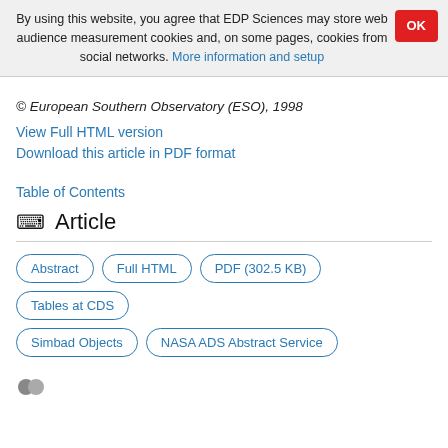By using this website, you agree that EDP Sciences may store web audience measurement cookies and, on some pages, cookies from social networks. More information and setup
© European Southern Observatory (ESO), 1998
View Full HTML version
Download this article in PDF format
Table of Contents
Article
Abstract | Full HTML | PDF (302.5 KB) | Tables at CDS | Simbad Objects | NASA ADS Abstract Service